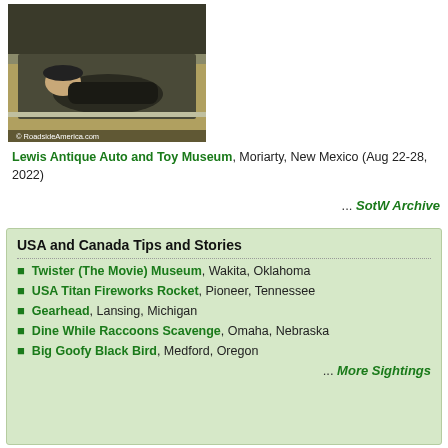[Figure (photo): Photo of the interior of a car trunk with a person inside, watermarked with © RoadsideAmerica.com]
Lewis Antique Auto and Toy Museum, Moriarty, New Mexico (Aug 22-28, 2022)
... SotW Archive
USA and Canada Tips and Stories
Twister (The Movie) Museum, Wakita, Oklahoma
USA Titan Fireworks Rocket, Pioneer, Tennessee
Gearhead, Lansing, Michigan
Dine While Raccoons Scavenge, Omaha, Nebraska
Big Goofy Black Bird, Medford, Oregon
... More Sightings